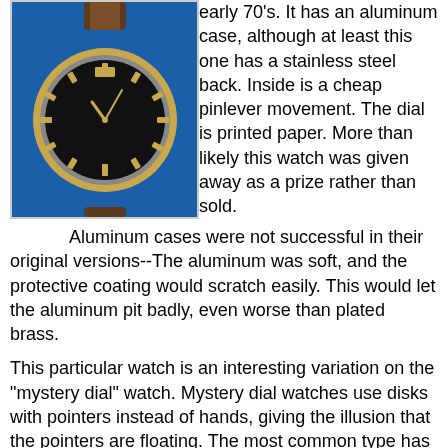[Figure (photo): A wristwatch with a black dial, gold-tone case and markers, and a brown leather strap, photographed against a blue background.]
early 70's. It has an aluminum case, although at least this one has a stainless steel back. Inside is a cheap pinlever movement. The dial is printed paper. More than likely this watch was given away as a prize rather than sold.
Aluminum cases were not successful in their original versions--The aluminum was soft, and the protective coating would scratch easily. This would let the aluminum pit badly, even worse than plated brass.
This particular watch is an interesting variation on the "mystery dial" watch. Mystery dial watches use disks with pointers instead of hands, giving the illusion that the pointers are floating. The most common type has conventional hour and minute hands, and uses a disk for seconds, often with an animal or vehicle "running" around the perimeter of the dial.
This ...